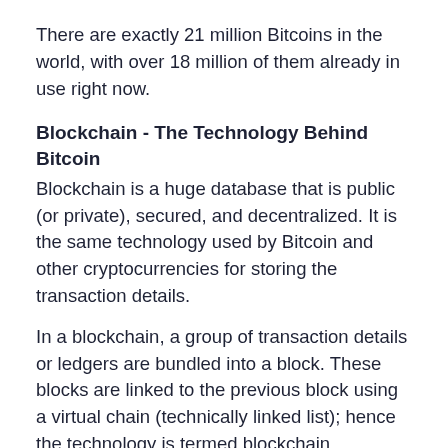There are exactly 21 million Bitcoins in the world, with over 18 million of them already in use right now.
Blockchain - The Technology Behind Bitcoin
Blockchain is a huge database that is public (or private), secured, and decentralized. It is the same technology used by Bitcoin and other cryptocurrencies for storing the transaction details.
In a blockchain, a group of transaction details or ledgers are bundled into a block. These blocks are linked to the previous block using a virtual chain (technically linked list); hence the technology is termed blockchain.
Below are the four main components of a